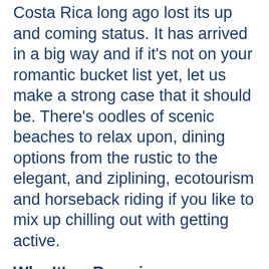Costa Rica long ago lost its up and coming status. It has arrived in a big way and if it's not on your romantic bucket list yet, let us make a strong case that it should be. There's oodles of scenic beaches to relax upon, dining options from the rustic to the elegant, and ziplining, ecotourism and horseback riding if you like to mix up chilling out with getting active.
Why It's a Bargain
Travel to Costa Rica in December at the end of the rainy weather and you'll avoid high season prices altogether. Meals at sodas (small, local spots) go for around $5 and consist of rice, beans, salad, a protein, and